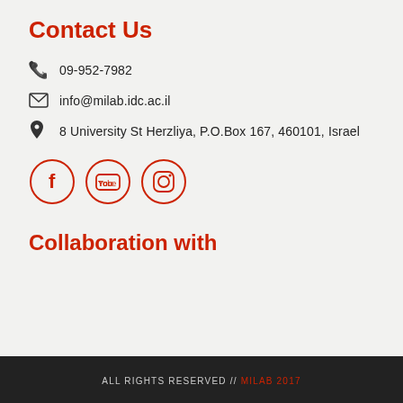Contact Us
09-952-7982
info@milab.idc.ac.il
8 University St Herzliya, P.O.Box 167, 460101, Israel
[Figure (illustration): Social media icons: Facebook, YouTube, Instagram in red circle outlines]
Collaboration with
ALL RIGHTS RESERVED // miLAB 2017